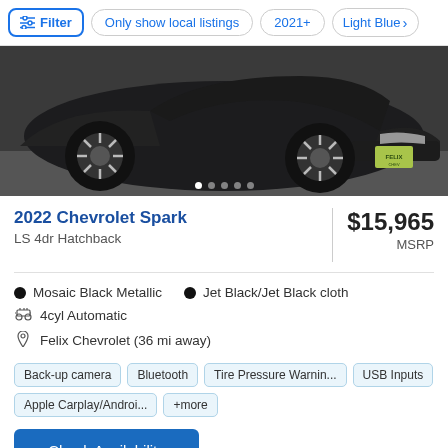Filter | Only show local listings | 2021+ | Light Blue
[Figure (photo): Front view of a dark/black 2022 Chevrolet Spark with a Felix dealership license plate, photographed from a low angle on a gray surface.]
2022 Chevrolet Spark
LS 4dr Hatchback
$15,965 MSRP
Mosaic Black Metallic
Jet Black/Jet Black cloth
4cyl Automatic
Felix Chevrolet (36 mi away)
Back-up camera
Bluetooth
Tire Pressure Warnin...
USB Inputs
Apple Carplay/Androi...
+more
Check Availability